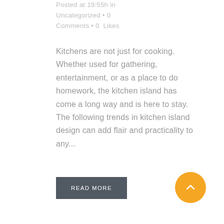Posted at 19:55h in Uncategorized • 0 Comments • 0  Likes
Kitchens are not just for cooking. Whether used for gathering, entertainment, or as a place to do homework, the kitchen island has come a long way and is here to stay. The following trends in kitchen island design can add flair and practicality to any...
READ MORE